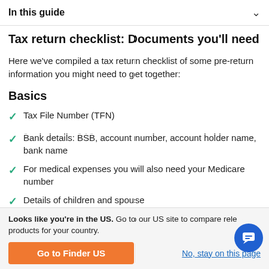In this guide
Tax return checklist: Documents you'll need
Here we've compiled a tax return checklist of some pre-return information you might need to get together:
Basics
Tax File Number (TFN)
Bank details: BSB, account number, account holder name, bank name
For medical expenses you will also need your Medicare number
Details of children and spouse
Looks like you're in the US. Go to our US site to compare relevant products for your country.
Go to Finder US
No, stay on this page